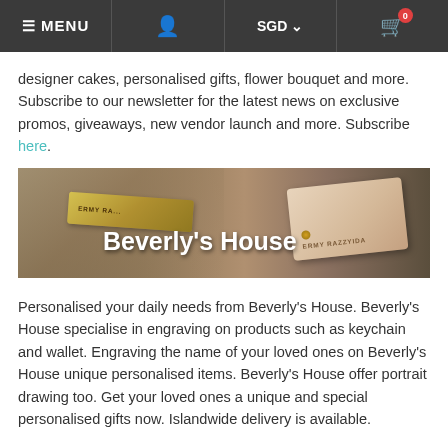≡ MENU  [user icon]  SGD ∨  [cart icon] 0
designer cakes, personalised gifts, flower bouquet and more. Subscribe to our newsletter for the latest news on exclusive promos, giveaways, new vendor launch and more. Subscribe here.
[Figure (photo): Beverly's House banner image showing engraved leather keychains and wallet with the text 'Beverly's House' overlaid in white]
Personalised your daily needs from Beverly's House. Beverly's House specialise in engraving on products such as keychain and wallet. Engraving the name of your loved ones on Beverly's House unique personalised items. Beverly's House offer portrait drawing too. Get your loved ones a unique and special personalised gifts now. Islandwide delivery is available.